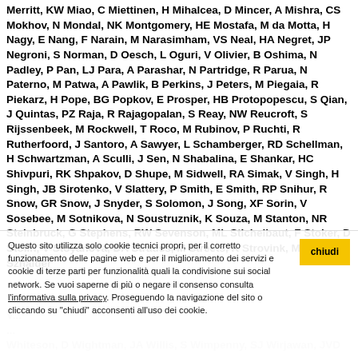Merritt, KW Miao, C Miettinen, H Mihalcea, D Mincer, A Mishra, CS Mokhov, N Mondal, NK Montgomery, HE Mostafa, M da Motta, H Nagy, E Nang, F Narain, M Narasimham, VS Neal, HA Negret, JP Negroni, S Norman, D Oesch, L Oguri, V Olivier, B Oshima, N Padley, P Pan, LJ Para, A Parashar, N Partridge, R Parua, N Paterno, M Patwa, A Pawlik, B Perkins, J Peters, M Piegaia, R Piekarz, H Pope, BG Popkov, E Prosper, HB Protopopescu, S Qian, J Quintas, PZ Raja, R Rajagopalan, S Reay, NW Reucroft, S Rijssenbeek, M Rockwell, T Roco, M Rubinov, P Ruchti, R Rutherfoord, J Santoro, A Sawyer, L Schamberger, RD Schellman, H Schwartzman, A Sculli, J Sen, N Shabalina, E Shankar, HC Shivpuri, RK Shpakov, D Shupe, M Sidwell, RA Simak, V Singh, H Singh, JB Sirotenko, V Slattery, P Smith, E Smith, RP Snihur, R Snow, GR Snow, J Snyder, S Solomon, J Song, XF Sorin, V Sosebee, M Sotnikova, N Soustruznik, K Souza, M Stanton, NR Steinbruck, G Stephens, RW Sevenson, ML Stichelbaut, F Stoker, D Stolin, V Stoyanova, DA Strauss, M Streets, K Strovink, M Stutte, L Sznaider
Questo sito utilizza solo cookie tecnici propri, per il corretto funzionamento delle pagine web e per il miglioramento dei servizi e cookie di terze parti per funzionalità quali la condivisione sui social network. Se vuoi saperne di più o negare il consenso consulta l'informativa sulla privacy. Proseguendo la navigazione del sito o cliccando su "chiudi" acconsenti all'uso dei cookie.
Thompson, V... Whiteson, D Wightman, JA Willis, S Wimpenny, SJ Wirjawan, JVD...